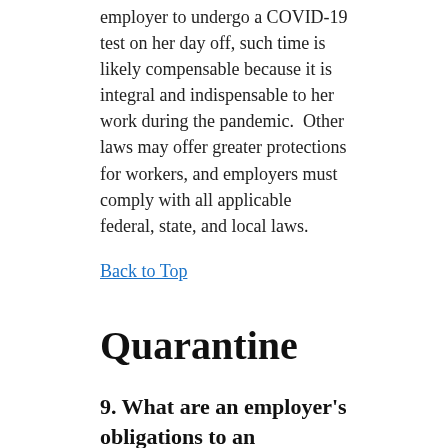employer to undergo a COVID-19 test on her day off, such time is likely compensable because it is integral and indispensable to her work during the pandemic.  Other laws may offer greater protections for workers, and employers must comply with all applicable federal, state, and local laws.
Back to Top
Quarantine
9. What are an employer's obligations to an employee who is under quarantine due to exposure to COVID-19?